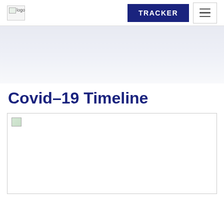logo | TRACKER | menu
[Figure (illustration): Light blue-to-white gradient hero banner area]
Covid-19 Timeline
[Figure (photo): Large image placeholder (broken image icon visible in top-left corner)]